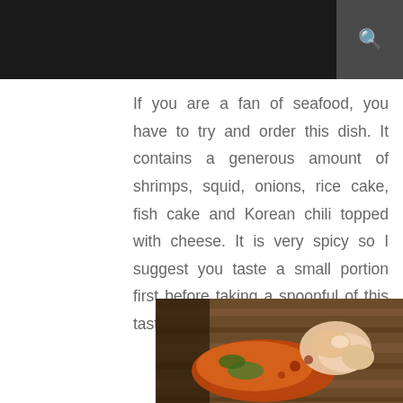If you are a fan of seafood, you have to try and order this dish. It contains a generous amount of shrimps, squid, onions, rice cake, fish cake and Korean chili topped with cheese. It is very spicy so I suggest you taste a small portion first before taking a spoonful of this tasty meal.
[Figure (photo): Photo of a Korean seafood dish with shrimps, squid, vegetables and spicy sauce on a wooden board]